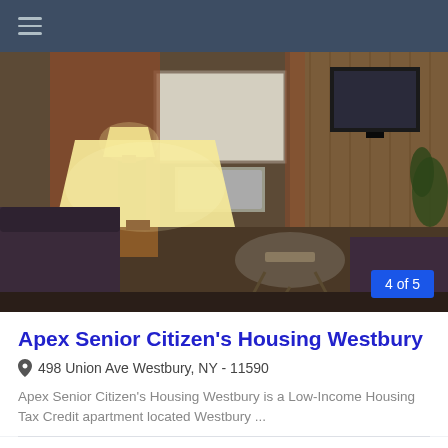≡
[Figure (photo): Interior photo of a senior apartment living room with a lamp on a side table, sofa, glass coffee table, wall-mounted air conditioner, and TV in background. Image counter badge shows '4 of 5'.]
Apex Senior Citizen's Housing Westbury
📍 498 Union Ave Westbury, NY - 11590
Apex Senior Citizen's Housing Westbury is a Low-Income Housing Tax Credit apartment located Westbury ...
1 bdrm   Senior Housing